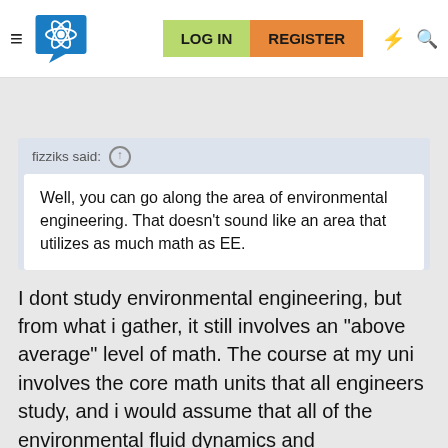LOG IN  REGISTER
fizziks said: ↑
Well, you can go along the area of environmental engineering. That doesn't sound like an area that utilizes as much math as EE.
I dont study environmental engineering, but from what i gather, it still involves an "above average" level of math. The course at my uni involves the core math units that all engineers study, and i would assume that all of the environmental fluid dynamics and